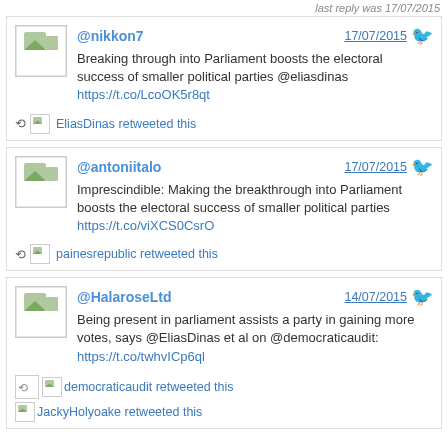last reply was 17/07/2015
@nikkon7 17/07/2015 Breaking through into Parliament boosts the electoral success of smaller political parties @eliasdinas https://t.co/LcoOK5r8qt EliasDinas retweeted this
@antoniitalo 17/07/2015 Imprescindible: Making the breakthrough into Parliament boosts the electoral success of smaller political parties https://t.co/viXCS0CsrO painesrepublic retweeted this
@HalaroseLtd 14/07/2015 Being present in parliament assists a party in gaining more votes, says @EliasDinas et al on @democraticaudit: https://t.co/twhvICp6ql democraticaudit retweeted this JackyHolyoake retweeted this